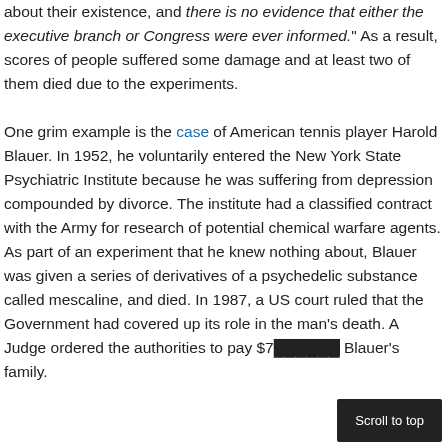about their existence, and there is no evidence that either the executive branch or Congress were ever informed." As a result, scores of people suffered some damage and at least two of them died due to the experiments.

One grim example is the case of American tennis player Harold Blauer. In 1952, he voluntarily entered the New York State Psychiatric Institute because he was suffering from depression compounded by divorce. The institute had a classified contract with the Army for research of potential chemical warfare agents. As part of an experiment that he knew nothing about, Blauer was given a series of derivatives of a psychedelic substance called mescaline, and died. In 1987, a US court ruled that the Government had covered up its role in the man's death. A Judge ordered the authorities to pay $7[...] Blauer's family.